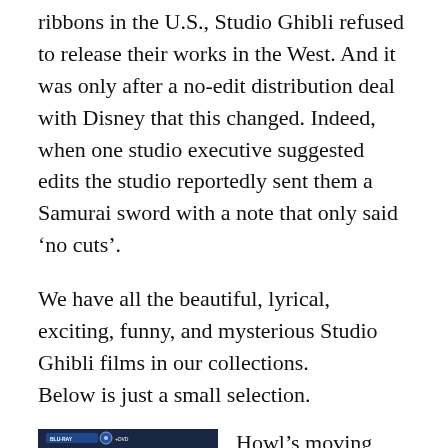ribbons in the U.S., Studio Ghibli refused to release their works in the West. And it was only after a no-edit distribution deal with Disney that this changed. Indeed, when one studio executive suggested edits the studio reportedly sent them a Samurai sword with a note that only said ‘no cuts’.
We have all the beautiful, lyrical, exciting, funny, and mysterious Studio Ghibli films in our collections.
Below is just a small selection.
[Figure (photo): Blu-ray and DVD cover of Howl's Moving Castle, a Studio Ghibli film, showing two characters against a dark blue background with Disney presents branding.]
Howl’s moving castle “Sophie, an average teenage girl working in a